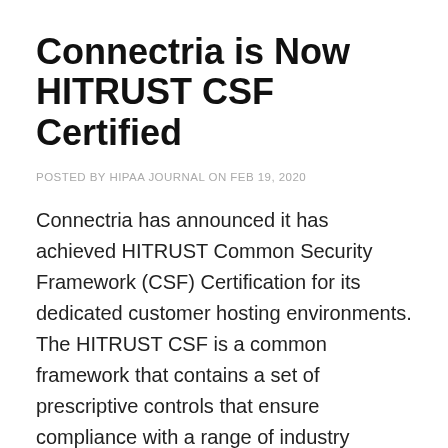Connectria is Now HITRUST CSF Certified
POSTED BY HIPAA JOURNAL ON FEB 19, 2020
Connectria has announced it has achieved HITRUST Common Security Framework (CSF) Certification for its dedicated customer hosting environments. The HITRUST CSF is a common framework that contains a set of prescriptive controls that ensure compliance with a range of industry regulations and standards. The framework includes the standards laid down in regulations such as the ISO/IEC 27000-series, GDPR, PCI, and the Health Insurance Portability and Accountability Act (HIPAA). HITRUST has a healthcare focus and many healthcare organizations have adopted the HITRUST CSF to